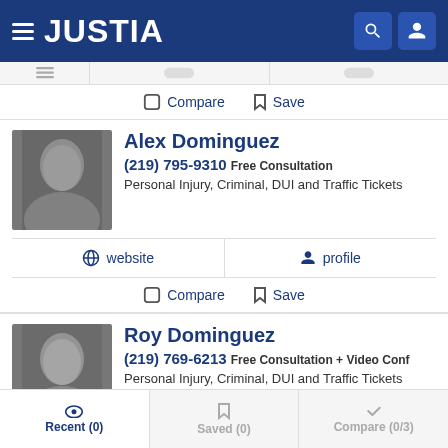JUSTIA
Compare  Save
Alex Dominguez
(219) 795-9310 Free Consultation
Personal Injury, Criminal, DUI and Traffic Tickets
website   profile
Compare  Save
Roy Dominguez
(219) 769-6213 Free Consultation + Video Conf
Personal Injury, Criminal, DUI and Traffic Tickets
Recent (0)  Saved (0)  Compare (0/3)